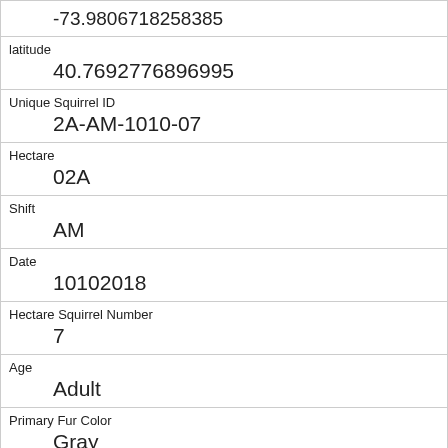| Field | Value |
| --- | --- |
| (longitude) | -73.9806718258385 |
| latitude | 40.7692776896995 |
| Unique Squirrel ID | 2A-AM-1010-07 |
| Hectare | 02A |
| Shift | AM |
| Date | 10102018 |
| Hectare Squirrel Number | 7 |
| Age | Adult |
| Primary Fur Color | Gray |
| Highlight Fur Color | Cinnamon |
| Combination of Primary and Highlight Color |  |